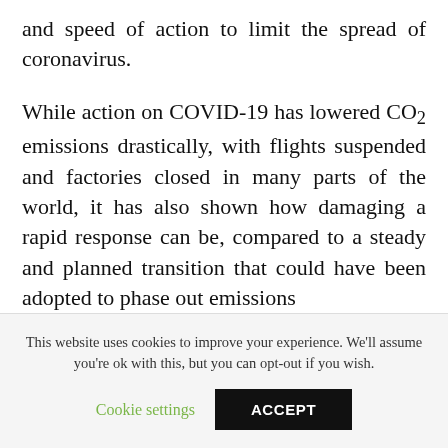and speed of action to limit the spread of coronavirus.
While action on COVID-19 has lowered CO₂ emissions drastically, with flights suspended and factories closed in many parts of the world, it has also shown how damaging a rapid response can be, compared to a steady and planned transition that could have been adopted to phase out emissions
This website uses cookies to improve your experience. We'll assume you're ok with this, but you can opt-out if you wish.
Cookie settings   ACCEPT